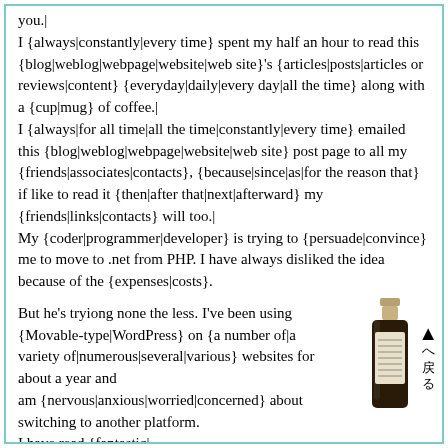you.|
I {always|constantly|every time} spent my half an hour to read this {blog|weblog|webpage|website|web site}'s {articles|posts|articles or reviews|content} {everyday|daily|every day|all the time} along with a {cup|mug} of coffee.|
I {always|for all time|all the time|constantly|every time} emailed this {blog|weblog|webpage|website|web site} post page to all my {friends|associates|contacts}, {because|since|as|for the reason that} if like to read it {then|after that|next|afterward} my {friends|links|contacts} will too.|
My {coder|programmer|developer} is trying to {persuade|convince} me to move to .net from PHP. I have always disliked the idea because of the {expenses|costs}.
But he's tryiong none the less. I've been using {Movable-type|WordPress} on {a number of|a variety of|numerous|several|various} websites for about a year and am {nervous|anxious|worried|concerned} about switching to another platform.
I have read {fantastic|...
[Figure (photo): A bottle of dark liquid (sauce or condiment) with Japanese label, next to a navigation arrow pointing up with Japanese text 'へ戻る']